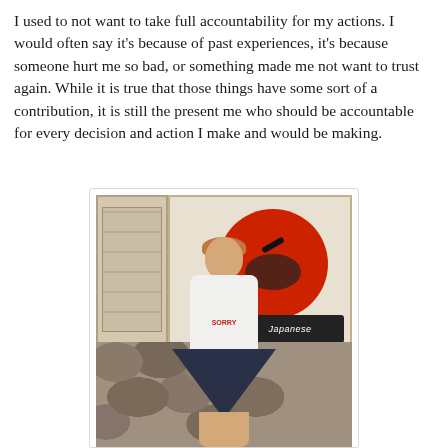I used to not want to take full accountability for my actions. I would often say it's because of past experiences, it's because someone hurt me so bad, or something made me not want to trust again. While it is true that those things have some sort of a contribution, it is still the present me who should be accountable for every decision and action I make and would be making.
[Figure (photo): A young woman with reddish-brown hair and glasses, wearing a white long-sleeve top and dark navy skirt, posing in front of a restaurant or shop with a large red circular logo sign and a Japanese-style sliding window door, with a stone wall in the background.]